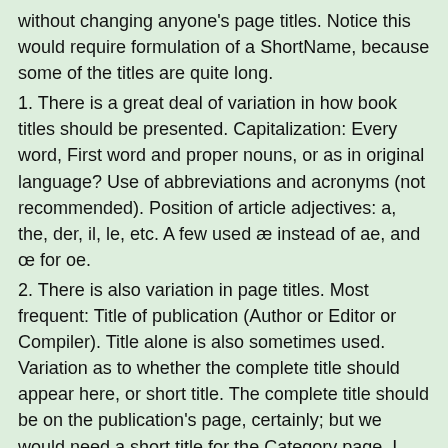without changing anyone's page titles. Notice this would require formulation of a ShortName, because some of the titles are quite long.
1. There is a great deal of variation in how book titles should be presented. Capitalization: Every word, First word and proper nouns, or as in original language? Use of abbreviations and acronyms (not recommended). Position of article adjectives: a, the, der, il, le, etc. A few used æ instead of ae, and œ for oe.
2. There is also variation in page titles. Most frequent: Title of publication (Author or Editor or Compiler). Title alone is also sometimes used. Variation as to whether the complete title should appear here, or short title. The complete title should be on the publication's page, certainly; but we would need a short title for the Category page. I feel entries on the Category Page should be Author Year - Short Title; Page names then